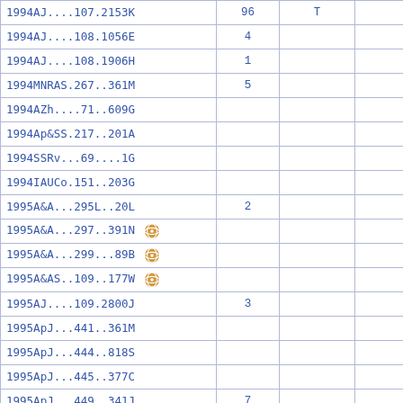|  |  | T |  |
| --- | --- | --- | --- |
| 1994AJ....107.2153K | 96 | T |  |
| 1994AJ....108.1056E | 4 |  |  |
| 1994AJ....108.1906H | 1 |  |  |
| 1994MNRAS.267..361M | 5 |  |  |
| 1994AZh....71..609G |  |  |  |
| 1994Ap&SS.217..201A |  |  |  |
| 1994SSRv...69....1G |  |  |  |
| 1994IAUCo.151..203G |  |  |  |
| 1995A&A...295L..20L | 2 |  |  |
| 1995A&A...297..391N [vizier] |  |  |  |
| 1995A&A...299...89B [vizier] |  |  |  |
| 1995A&AS..109..177W [vizier] |  |  |  |
| 1995AJ....109.2800J | 3 |  |  |
| 1995ApJ...441..361M |  |  |  |
| 1995ApJ...444..818S |  |  |  |
| 1995ApJ...445..377C |  |  |  |
| 1995ApJ...449..341J | 7 |  |  |
| 1995ApJ...452..736H | 4 |  |  |
| 1995AJS...101..447K [vizier] | 2 |  |  |